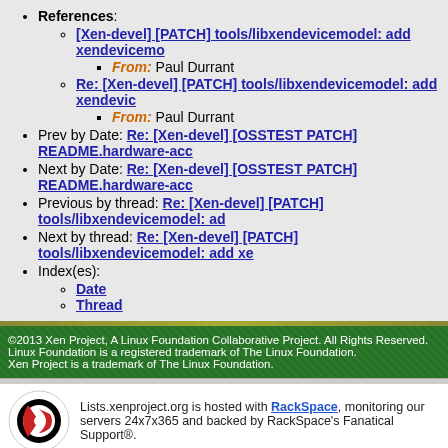References:
[Xen-devel] [PATCH] tools/libxendevicemodel: add xendevicemo...
From: Paul Durrant
Re: [Xen-devel] [PATCH] tools/libxendevicemodel: add xendevic...
From: Paul Durrant
Prev by Date: Re: [Xen-devel] [OSSTEST PATCH] README.hardware-acc...
Next by Date: Re: [Xen-devel] [OSSTEST PATCH] README.hardware-acc...
Previous by thread: Re: [Xen-devel] [PATCH] tools/libxendevicemodel: ad...
Next by thread: Re: [Xen-devel] [PATCH] tools/libxendevicemodel: add xe...
Index(es):
Date
Thread
©2013 Xen Project, A Linux Foundation Collaborative Project. All Rights Reserved. Linux Foundation is a registered trademark of The Linux Foundation. Xen Project is a trademark of The Linux Foundation.
Lists.xenproject.org is hosted with RackSpace, monitoring our servers 24x7x365 and backed by RackSpace's Fanatical Support®.